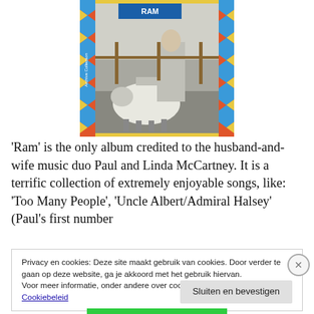[Figure (photo): Album cover of 'Ram' by Paul and Linda McCartney — black and white photo of a man holding a ram, surrounded by a colorful zigzag patterned border. Text 'Archive Collection' visible on the spine.]
'Ram' is the only album credited to the husband-and-wife music duo Paul and Linda McCartney. It is a terrific collection of extremely enjoyable songs, like: 'Too Many People', 'Uncle Albert/Admiral Halsey' (Paul's first number
Privacy en cookies: Deze site maakt gebruik van cookies. Door verder te gaan op deze website, ga je akkoord met het gebruik hiervan. Voor meer informatie, onder andere over cookiebeheer, bekijk je: Cookiebeleid
Sluiten en bevestigen